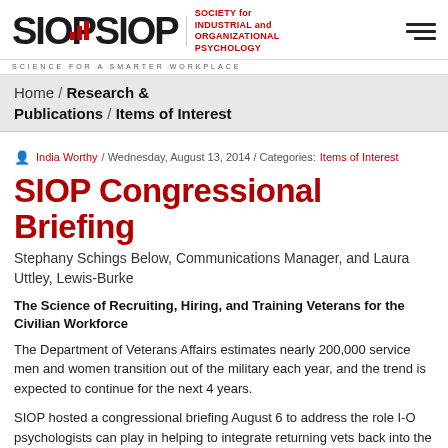SIOP — SOCIETY for INDUSTRIAL and ORGANIZATIONAL PSYCHOLOGY / SCIENCE FOR A SMARTER WORKPLACE
Home / Research & Publications / Items of Interest
India Worthy / Wednesday, August 13, 2014 / Categories: Items of Interest
SIOP Congressional Briefing
Stephany Schings Below, Communications Manager, and Laura Uttley, Lewis-Burke
The Science of Recruiting, Hiring, and Training Veterans for the Civilian Workforce
The Department of Veterans Affairs estimates nearly 200,000 service men and women transition out of the military each year, and the trend is expected to continue for the next 4 years.
SIOP hosted a congressional briefing August 6 to address the role I-O psychologists can play in helping to integrate returning vets back into the